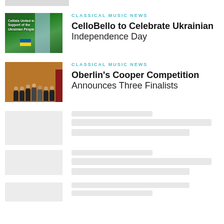[Figure (photo): Partial image visible at top of page, cut off]
CLASSICAL MUSIC NEWS
CelloBello to Celebrate Ukrainian Independence Day
[Figure (photo): Photo of group of people seated on stage in front of orange/brown background with red banner]
CLASSICAL MUSIC NEWS
Oberlin's Cooper Competition Announces Three Finalists